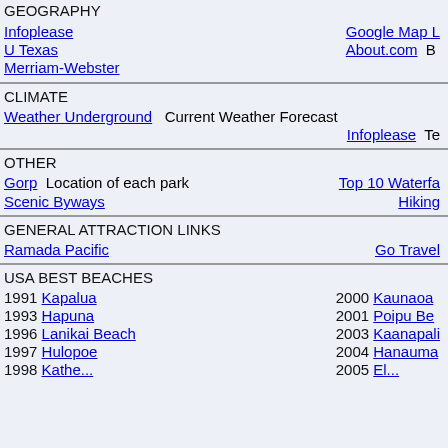GEOGRAPHY
Infoplease   Google Map L
U Texas   About.com   B
Merriam-Webster
CLIMATE
Weather Underground   Current Weather Forecast
Infoplease   Te
OTHER
Gorp   Location of each park   Top 10 Waterfa
Scenic Byways   Hiking
GENERAL ATTRACTION LINKS
Ramada Pacific   Go Travel
USA BEST BEACHES
1991 Kapalua   2000 Kaunaoa
1993 Hapuna   2001 Poipu Be
1996 Lanikai Beach   2003 Kaanapali
1997 Hulopoe   2004 Hanauma
1998 ...   2005 El...